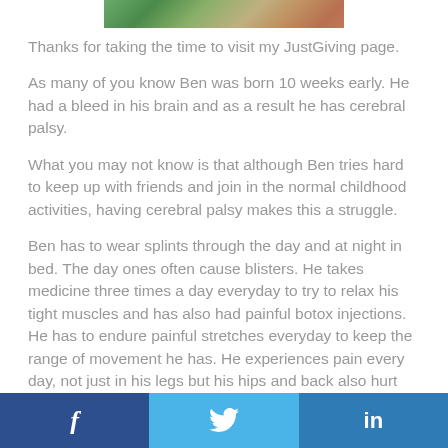[Figure (photo): Partial photo strip at the top of the page, cropped image]
Thanks for taking the time to visit my JustGiving page.
As many of you know Ben was born 10 weeks early. He had a bleed in his brain and as a result he has cerebral palsy.
What you may not know is that although Ben tries hard to keep up with friends and join in the normal childhood activities, having cerebral palsy makes this a struggle.
Ben has to wear splints through the day and at night in bed. The day ones often cause blisters. He takes medicine three times a day everyday to try to relax his tight muscles and has also had painful botox injections. He has to endure painful stretches everyday to keep the range of movement he has. He experiences pain every day, not just in his legs but his hips and back also hurt because of the
f  [Twitter bird]  in